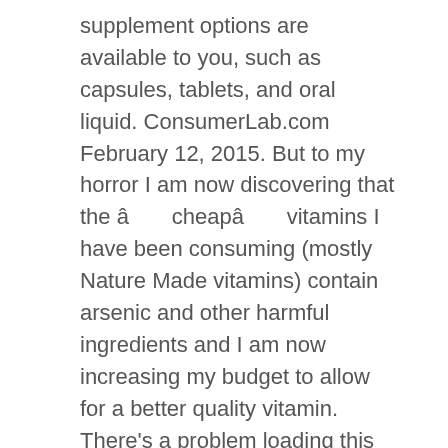supplement options are available to you, such as capsules, tablets, and oral liquid. ConsumerLab.com February 12, 2015. But to my horror I am now discovering that the âcheapâ vitamins I have been consuming (mostly Nature Made vitamins) contain arsenic and other harmful ingredients and I am now increasing my budget to allow for a better quality vitamin. There’s a problem loading this menu right now. $5 off (13 days ago) Nature Made Vitamins $5.00 â¦ Free 2-day shipping on qualified orders over $35. â¦ These statements have not been evaluated by the Food and Drug â¦ Our FAQ page delivers the answers to your most pressing nutrition questions. Nature Made: 64%. delivering marketing communications, promotional materials, or advertisements about Nature Made and Pharmavite or third-party products